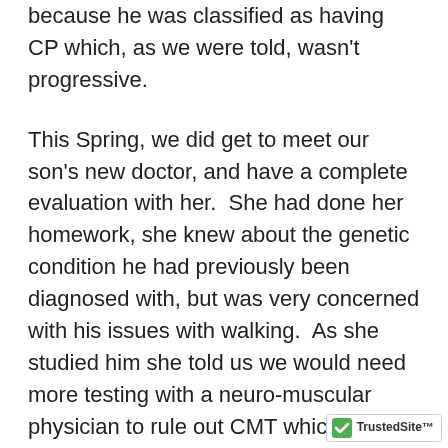because he was classified as having CP which, as we were told, wasn't progressive.
This Spring, we did get to meet our son's new doctor, and have a complete evaluation with her.  She had done her homework, she knew about the genetic condition he had previously been diagnosed with, but was very concerned with his issues with walking.  As she studied him she told us we would need more testing with a neuro-muscular physician to rule out CMT which is another genetic disease of the nerves.
So, this Spring was filled with doctors appointments and medical procedures including EEGs, MRIs, and nerve conduction testing including an EMG.
I've discovered so much during this trying time.  While my husband and I have struggled right there...